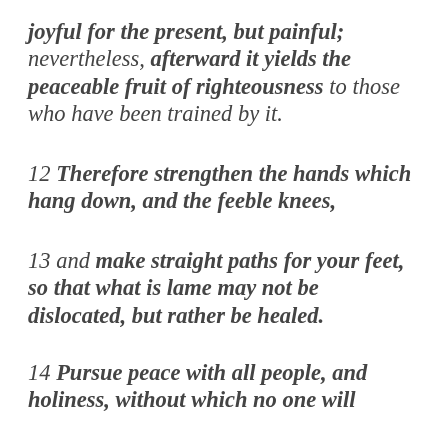joyful for the present, but painful; nevertheless, afterward it yields the peaceable fruit of righteousness to those who have been trained by it.
12 Therefore strengthen the hands which hang down, and the feeble knees,
13 and make straight paths for your feet, so that what is lame may not be dislocated, but rather be healed.
14 Pursue peace with all people, and holiness, without which no one will